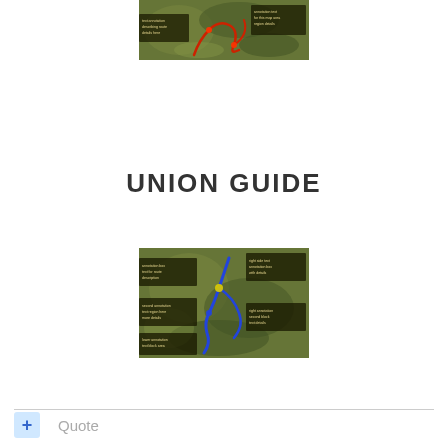[Figure (map): Top tactical map showing terrain with red route/path markings and text annotation boxes]
UNION GUIDE
[Figure (map): Bottom tactical map showing terrain with blue route/path markings and text annotation boxes]
+ Quote